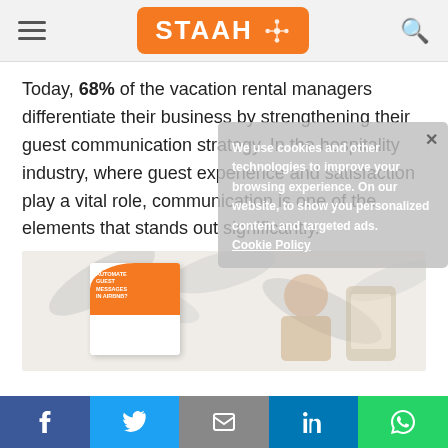STAAH
Today, 68% of the vacation rental managers differentiate their business by strengthening their guest communication strategy. In the hospitality industry, where guest experience and satisfaction play a vital role, communication is one of the elements that stands out significantly.
We use cookies and other technologies to improve your browsing experience. On our website, to show you personalized content and targeted ads. Cookie Policy
[Figure (photo): Promotional brochure image for automated guest messages in Airbnb, shown against a decorative background]
f  (Twitter bird)  (email)  in  (WhatsApp)